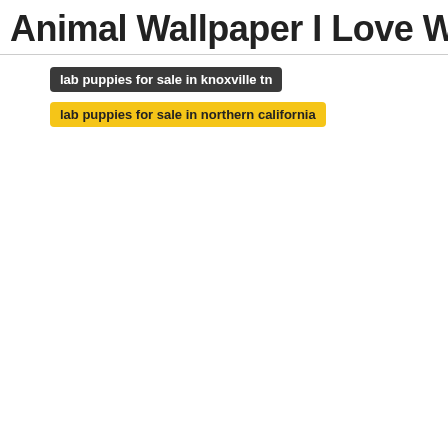Animal Wallpaper I Love Wallpaper
lab puppies for sale in knoxville tn
lab puppies for sale in northern california